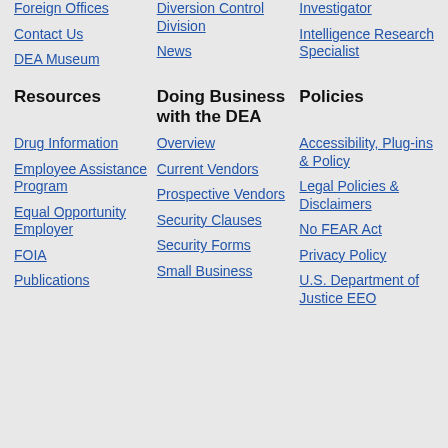Foreign Offices
Diversion Control Division
Investigator
Contact Us
News
Intelligence Research Specialist
DEA Museum
Resources
Doing Business with the DEA
Policies
Drug Information
Overview
Accessibility, Plug-ins & Policy
Employee Assistance Program
Current Vendors
Legal Policies & Disclaimers
Equal Opportunity Employer
Prospective Vendors
No FEAR Act
FOIA
Security Clauses
Privacy Policy
Publications
Security Forms
U.S. Department of Justice EEO
Small Business